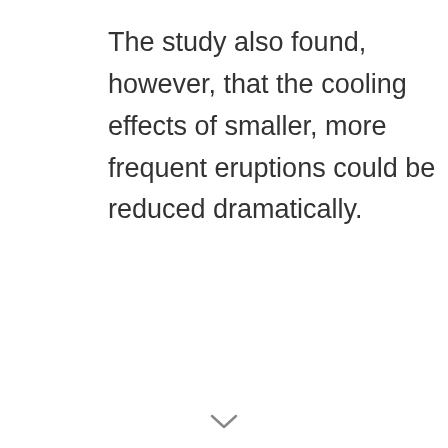The study also found, however, that the cooling effects of smaller, more frequent eruptions could be reduced dramatically.